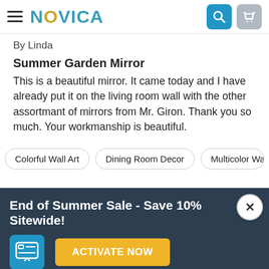NOVICA
By Linda
Summer Garden Mirror
This is a beautiful mirror. It came today and I have already put it on the living room wall with the other assortmant of mirrors from Mr. Giron. Thank you so much. Your workmanship is beautiful.
Colorful Wall Art
Dining Room Decor
Multicolor Wall Decor
End of Summer Sale - Save 10% Sitewide!
ACTIVATE NOW